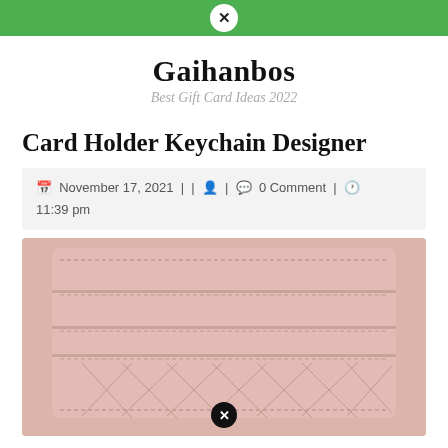Gaihanbos — Best Gift Card Ideas 2022
Gaihanbos
Best Gift Card Ideas 2022
Card Holder Keychain Designer
November 17, 2021 | | 0 Comment | 11:39 pm
[Figure (photo): Pink quilted leather card holder wallet, front view, showing card slots and stitching detail]